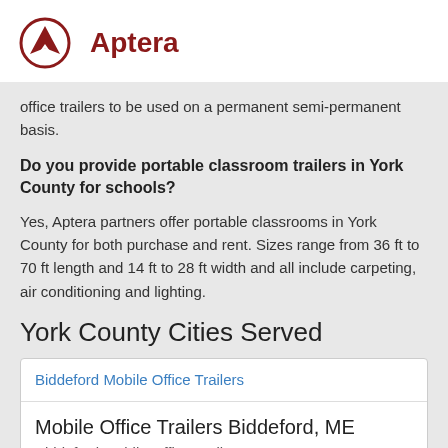[Figure (logo): Aptera company logo: dark red circle with arrow/triangle symbol, next to bold dark red text 'Aptera']
office trailers to be used on a permanent semi-permanent basis.
Do you provide portable classroom trailers in York County for schools?
Yes, Aptera partners offer portable classrooms in York County for both purchase and rent. Sizes range from 36 ft to 70 ft length and 14 ft to 28 ft width and all include carpeting, air conditioning and lighting.
York County Cities Served
Biddeford Mobile Office Trailers
Mobile Office Trailers Biddeford, ME